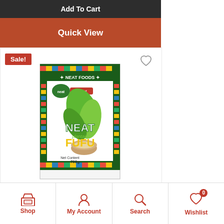Add To Cart
Quick View
[Figure (photo): Product image of Neat Foods Neat Plantain Fufu 700g box, with green plantains and a bowl of fufu on the packaging, colorful kente-style border design]
Sale!
Shop | My Account | Search | Wishlist